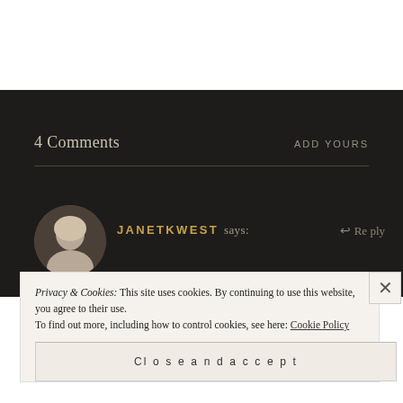4 Comments
ADD YOURS
JANETKWEST says:
↩ Reply
Privacy & Cookies: This site uses cookies. By continuing to use this website, you agree to their use.
To find out more, including how to control cookies, see here: Cookie Policy
Close and accept